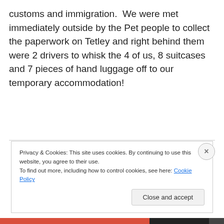customs and immigration.  We were met immediately outside by the Pet people to collect the paperwork on Tetley and right behind them were 2 drivers to whisk the 4 of us, 8 suitcases and 7 pieces of hand luggage off to our temporary accommodation!
Privacy & Cookies: This site uses cookies. By continuing to use this website, you agree to their use.
To find out more, including how to control cookies, see here: Cookie Policy
Close and accept